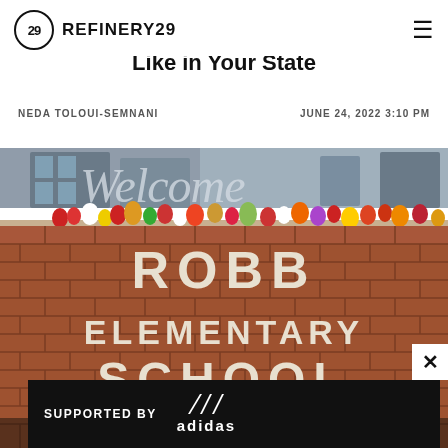REFINERY29
Like in Your State
NEDA TOLOUI-SEMNANI   JUNE 24, 2022 3:10 PM
[Figure (photo): Photo of flowers laid on top of the brick wall sign reading ROBB ELEMENTARY SCHOOL with a Welcome decorative sign partially visible, used as memorial tribute]
SUPPORTED BY adidas